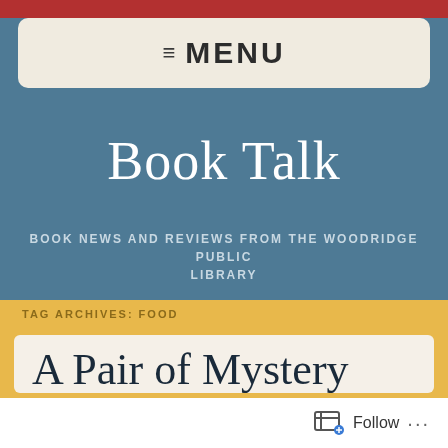≡ MENU
Book Talk
BOOK NEWS AND REVIEWS FROM THE WOODRIDGE PUBLIC LIBRARY
TAG ARCHIVES: FOOD
A Pair of Mystery Story Collections
Follow ...